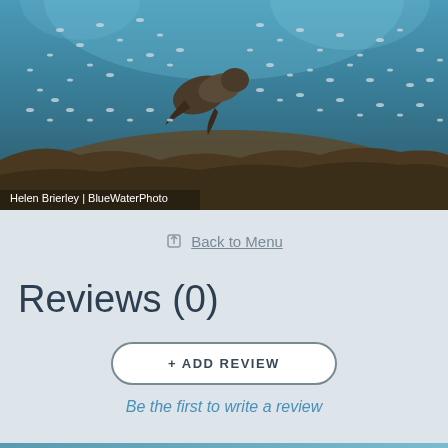[Figure (photo): Underwater photograph of a sea lion or seal swimming above rocky reef with large school of small silver fish swirling around it in clear blue water]
Helen Brierley | BlueWaterPhoto
Back to Menu
Reviews (0)
+ ADD REVIEW
Be the first to write a review